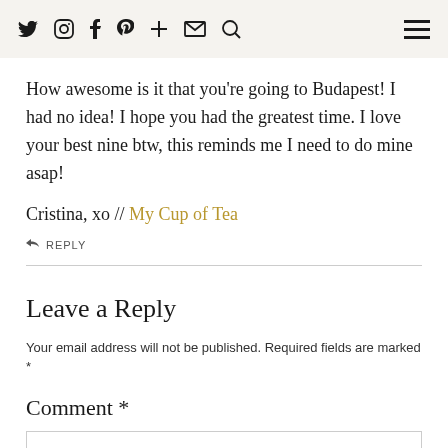Social media icons and hamburger menu
How awesome is it that you're going to Budapest! I had no idea! I hope you had the greatest time. I love your best nine btw, this reminds me I need to do mine asap!
Cristina, xo // My Cup of Tea
REPLY
Leave a Reply
Your email address will not be published. Required fields are marked *
Comment *